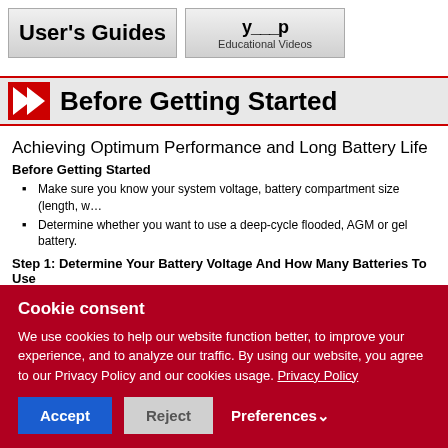[Figure (screenshot): Navigation buttons: 'User's Guides' and a partially visible button with 'Educational Videos']
Before Getting Started
Achieving Optimum Performance and Long Battery Life
Before Getting Started
Make sure you know your system voltage, battery compartment size (length, w…
Determine whether you want to use a deep-cycle flooded, AGM or gel battery.
Step 1: Determine Your Battery Voltage And How Many Batteries To Use
1-1   Based on your system voltage, you must first decide which battery is needed… series of eight 6V batteries, six 8V batteries or four 12V batteries for a 48-v…
Cookie consent
We use cookies to help our website function better, to improve your experience, and to analyze our traffic. By using our website, you agree to our Privacy Policy and our cookies usage. Privacy Policy
[Accept] [Reject] [Preferences]